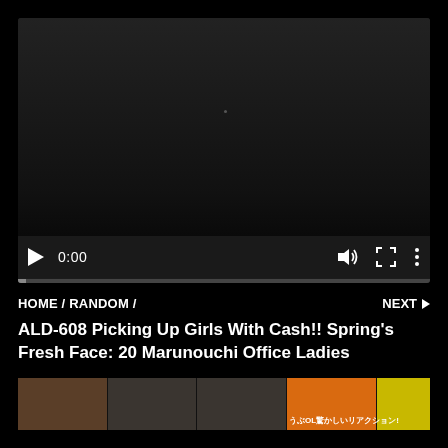[Figure (screenshot): Video player with dark background, play button, 0:00 timestamp, volume, fullscreen and more icons, and a progress bar at the bottom]
HOME / RANDOM /
NEXT ▶
ALD-608 Picking Up Girls With Cash!! Spring's Fresh Face: 20 Marunouchi Office Ladies
[Figure (photo): Horizontal thumbnail strip showing multiple small images of people]